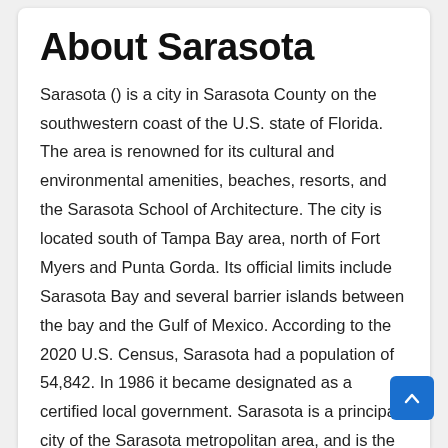About Sarasota
Sarasota () is a city in Sarasota County on the southwestern coast of the U.S. state of Florida. The area is renowned for its cultural and environmental amenities, beaches, resorts, and the Sarasota School of Architecture. The city is located south of Tampa Bay area, north of Fort Myers and Punta Gorda. Its official limits include Sarasota Bay and several barrier islands between the bay and the Gulf of Mexico. According to the 2020 U.S. Census, Sarasota had a population of 54,842. In 1986 it became designated as a certified local government. Sarasota is a principal city of the Sarasota metropolitan area, and is the seat of Sarasota County. The Sarasota city limits contain